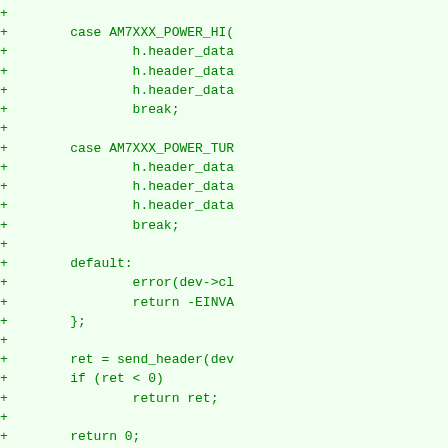[Figure (other): Diff/patch view of C source code showing additions (lines prefixed with +) for a Linux kernel driver, including switch-case statements for AM7XXX power modes, send_header calls, and picopix_set_power function stub.]